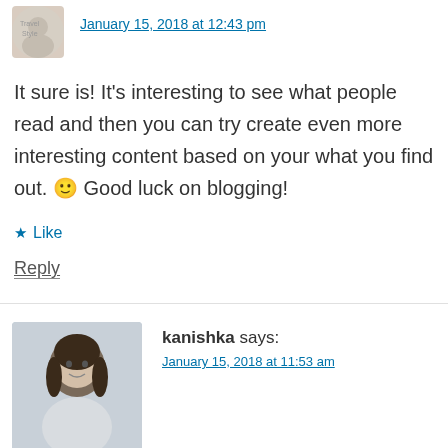January 15, 2018 at 12:43 pm
It sure is! It's interesting to see what people read and then you can try create even more interesting content based on your what you find out. 🙂 Good luck on blogging!
Like
Reply
kanishka says:
January 15, 2018 at 11:53 am
It is like a walkthrough of your blog. I loved it!! Your hair story surprised me, you looked so different in